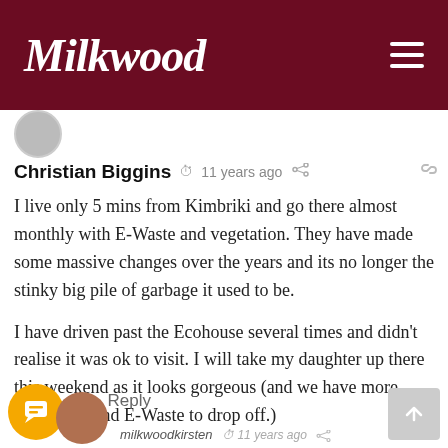Milkwood
Christian Biggins  11 years ago
I live only 5 mins from Kimbriki and go there almost monthly with E-Waste and vegetation. They have made some massive changes over the years and its no longer the stinky big pile of garbage it used to be.

I have driven past the Ecohouse several times and didn't realise it was ok to visit. I will take my daughter up there this weekend as it looks gorgeous (and we have more vegetation and E-Waste to drop off.)

Thanks for the post!!
Reply
milkwoodkirsten  11 years ago